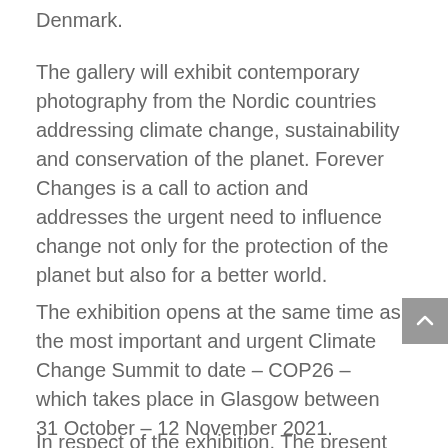Denmark.
The gallery will exhibit contemporary photography from the Nordic countries addressing climate change, sustainability and conservation of the planet. Forever Changes is a call to action and addresses the urgent need to influence change not only for the protection of the planet but also for a better world.
The exhibition opens at the same time as the most important and urgent Climate Change Summit to date – COP26 – which takes place in Glasgow between 31 October – 12 November 2021.
In respect of the exhibition. The present